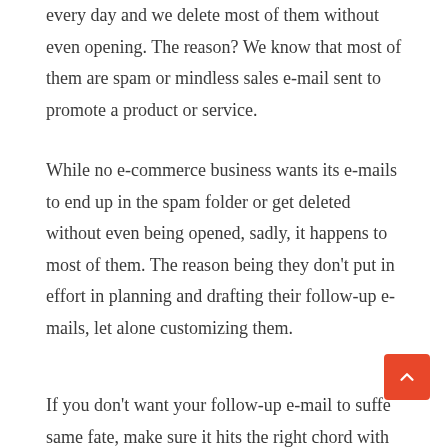every day and we delete most of them without even opening. The reason? We know that most of them are spam or mindless sales e-mail sent to promote a product or service.
While no e-commerce business wants its e-mails to end up in the spam folder or get deleted without even being opened, sadly, it happens to most of them. The reason being they don't put in effort in planning and drafting their follow-up e-mails, let alone customizing them.
If you don't want your follow-up e-mail to suffe the same fate, make sure it hits the right chord with your